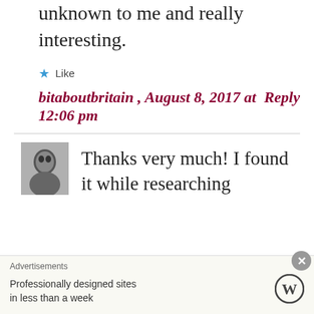unknown to me and really interesting.
★ Like
bitaboutbritain , August 8, 2017 at 12:06 pm   Reply
[Figure (photo): Small black and white avatar photo of a young woman]
Thanks very much! I found it while researching
Advertisements
Professionally designed sites in less than a week